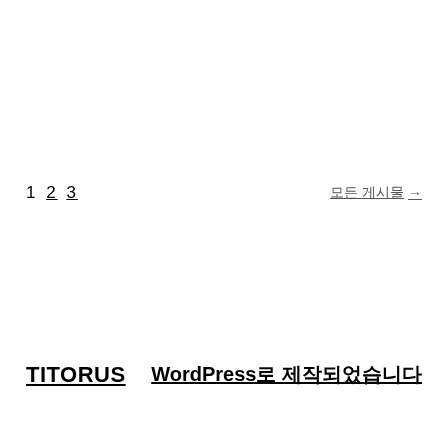1 2 3
모든 게시물 →
TITORUS
WordPress로 제작되었습니다